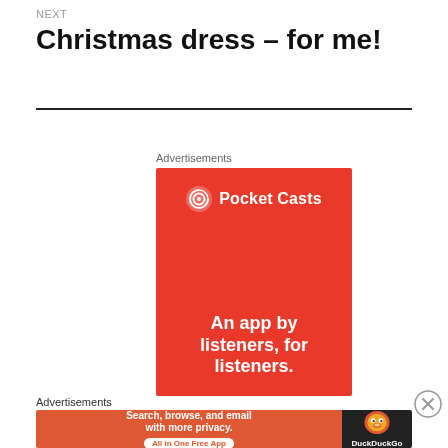NEXT
Christmas dress – for me!
Advertisements
[Figure (other): Pocket Casts advertisement on red background with logo and tagline 'An app by listeners, for listeners.']
[Figure (other): Close/dismiss button (X circle)]
Advertisements
[Figure (other): DuckDuckGo advertisement: 'Search, browse, and email with more privacy. All in One Free App' with DuckDuckGo duck logo on dark background]